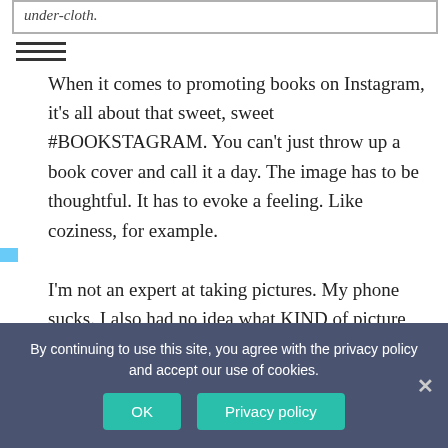under-cloth.
[Figure (other): Hamburger/menu icon with three horizontal lines]
When it comes to promoting books on Instagram, it's all about that sweet, sweet #BOOKSTAGRAM. You can't just throw up a book cover and call it a day. The image has to be thoughtful. It has to evoke a feeling. Like coziness, for example.

I'm not an expert at taking pictures. My phone sucks. I also had no idea what KIND of picture would work best. "Best" in my case, I decided, was decided by
By continuing to use this site, you agree with the privacy policy and accept our use of cookies.
OK
Privacy policy